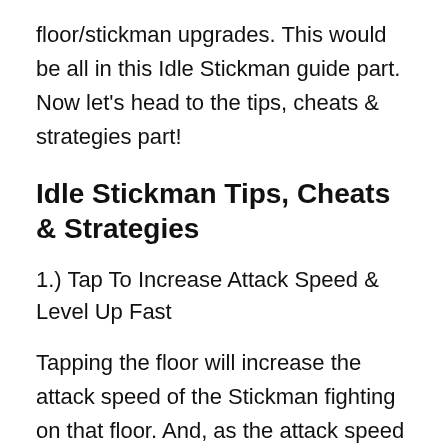floor/stickman upgrades. This would be all in this Idle Stickman guide part. Now let's head to the tips, cheats & strategies part!
Idle Stickman Tips, Cheats & Strategies
1.) Tap To Increase Attack Speed & Level Up Fast
Tapping the floor will increase the attack speed of the Stickman fighting on that floor. And, as the attack speed increases, he will be able to crush more enemies in less time. And, that's lead to tons of EXP production in no time. We would recommend tapping the